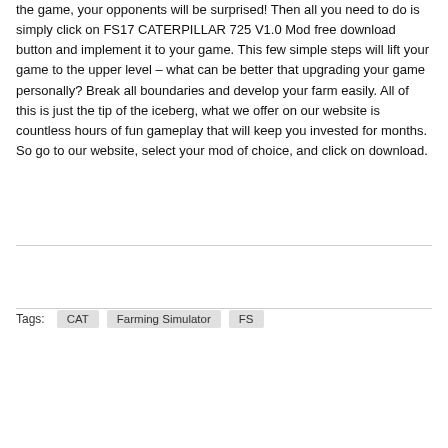the game, your opponents will be surprised! Then all you need to do is simply click on FS17 CATERPILLAR 725 V1.0 Mod free download button and implement it to your game. This few simple steps will lift your game to the upper level – what can be better that upgrading your game personally? Break all boundaries and develop your farm easily. All of this is just the tip of the iceberg, what we offer on our website is countless hours of fun gameplay that will keep you invested for months. So go to our website, select your mod of choice, and click on download.
Tags: CAT  Farming Simulator  FS